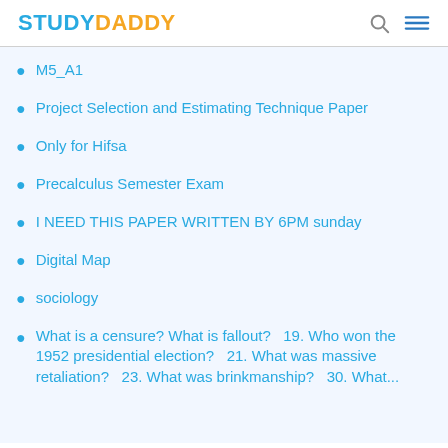STUDYDADDY
M5_A1
Project Selection and Estimating Technique Paper
Only for Hifsa
Precalculus Semester Exam
I NEED THIS PAPER WRITTEN BY 6PM sunday
Digital Map
sociology
What is a censure? What is fallout?   19. Who won the 1952 presidential election?   21. What was massive retaliation?   23. What was brinkmanship?   30. What...